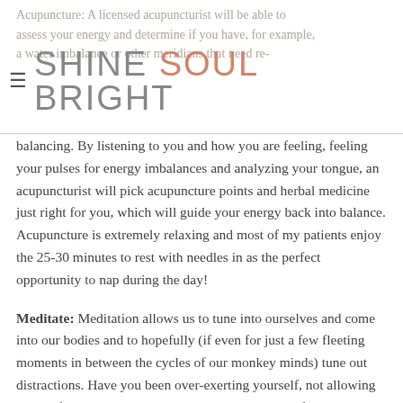Acupuncture: A licensed acupuncturist will be able to assess your energy and determine if you have, for example, a water imbalance or other meridians that need re-balancing.
balancing. By listening to you and how you are feeling, feeling your pulses for energy imbalances and analyzing your tongue, an acupuncturist will pick acupuncture points and herbal medicine just right for you, which will guide your energy back into balance. Acupuncture is extremely relaxing and most of my patients enjoy the 25-30 minutes to rest with needles in as the perfect opportunity to nap during the day!
Meditate: Meditation allows us to tune into ourselves and come into our bodies and to hopefully (if even for just a few fleeting moments in between the cycles of our monkey minds) tune out distractions. Have you been over-exerting yourself, not allowing yourself enough rest? Have you been shying away from certain